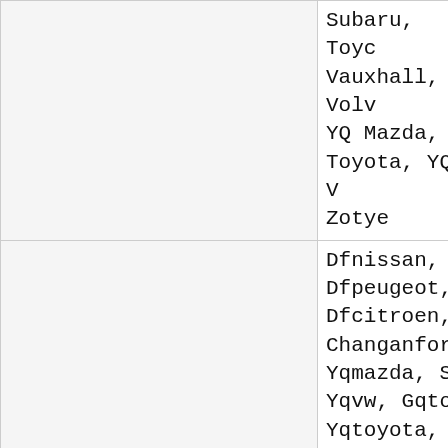|  | BMW, Sho... Subaru, Toyc... Vauxhall, Volv... YQ Mazda, Y... Toyota, YQ V... Zotye |
| BRT (Battery Configuration) | Dfnissan, Dfpeugeot, Dfcitroen, Changanford, Yqmazda, Sh... Yqvw, Ggtoy... Yqtoyota, Ho... Faw Car, Aud... Bentley, Bmu... Bugatti, Chry... Citroen, Fiat,... Gm, Honda, I... Infiniti, Jagu... |